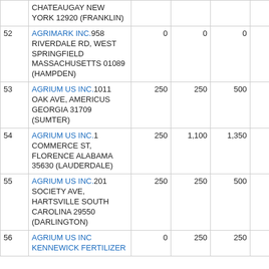| # | Name/Address | Col1 | Col2 | Col3 | Col4 |
| --- | --- | --- | --- | --- | --- |
|  | CHATEAUGAY NEW YORK 12920 (FRANKLIN) |  |  |  |  |
| 52 | AGRIMARK INC. 958 RIVERDALE RD, WEST SPRINGFIELD MASSACHUSETTS 01089 (HAMPDEN) | 0 | 0 | 0 | 0 |
| 53 | AGRIUM US INC. 1011 OAK AVE, AMERICUS GEORGIA 31709 (SUMTER) | 250 | 250 | 500 | 0 |
| 54 | AGRIUM US INC. 1 COMMERCE ST, FLORENCE ALABAMA 35630 (LAUDERDALE) | 250 | 1,100 | 1,350 | 0 |
| 55 | AGRIUM US INC. 201 SOCIETY AVE, HARTSVILLE SOUTH CAROLINA 29550 (DARLINGTON) | 250 | 250 | 500 | 0 |
| 56 | AGRIUM US INC KENNEWICK FERTILIZER | 0 | 250 | 250 | 0 |